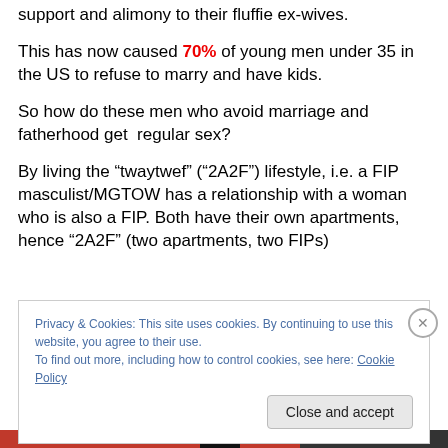support and alimony to their fluffie ex-wives.
This has now caused 70% of young men under 35 in the US to refuse to marry and have kids.
So how do these men who avoid marriage and fatherhood get  regular sex?
By living the “twaytwef” (“2A2F”) lifestyle, i.e. a FIP masculist/MGTOW has a relationship with a woman who is also a FIP. Both have their own apartments, hence “2A2F” (two apartments, two FIPs)
Privacy & Cookies: This site uses cookies. By continuing to use this website, you agree to their use.
To find out more, including how to control cookies, see here: Cookie Policy
Close and accept